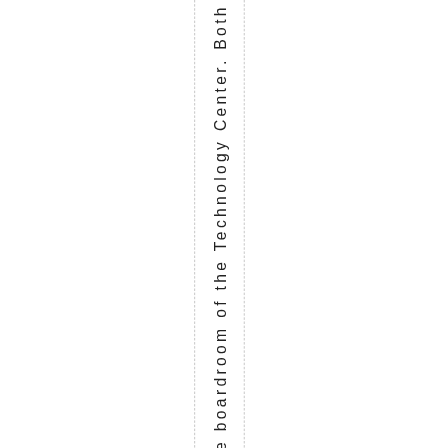in the boardroom of the Technology Center. Both